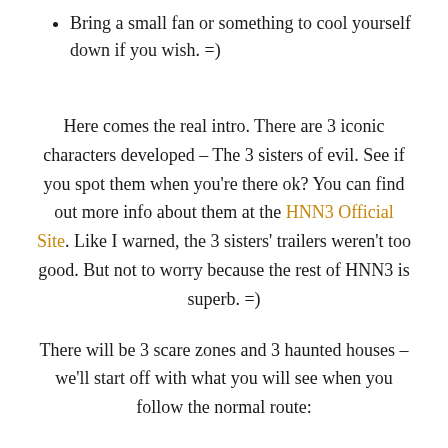Bring a small fan or something to cool yourself down if you wish. =)
Here comes the real intro. There are 3 iconic characters developed – The 3 sisters of evil. See if you spot them when you're there ok? You can find out more info about them at the HNN3 Official Site. Like I warned, the 3 sisters' trailers weren't too good. But not to worry because the rest of HNN3 is superb. =)
There will be 3 scare zones and 3 haunted houses – we'll start off with what you will see when you follow the normal route:
As you turn right from the main entrance, you will see the Monster Rock show. I would recommend you not